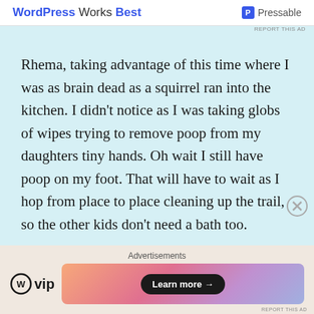[Figure (screenshot): Top advertisement bar showing 'WordPress Works Best' text in blue/bold and Pressable logo on the right, white background]
Rhema, taking advantage of this time where I was as brain dead as a squirrel ran into the kitchen. I didn't notice as I was taking globs of wipes trying to remove poop from my daughters tiny hands. Oh wait I still have poop on my foot. That will have to wait as I hop from place to place cleaning up the trail, so the other kids don't need a bath too.
[Figure (screenshot): Bottom advertisements section with WPVIP logo on left and a colorful gradient banner with 'Learn more →' button on right, on beige/tan background]